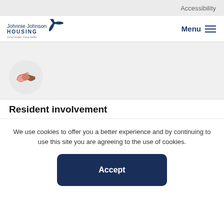Accessibility
[Figure (logo): Johnnie Johnson Housing logo with propeller graphic and tagline 'living longer, living better']
Menu
[Figure (illustration): Handshake icon in a light gray circle]
Resident involvement
We use cookies to offer you a better experience and by continuing to use this site you are agreeing to the use of cookies.
Accept